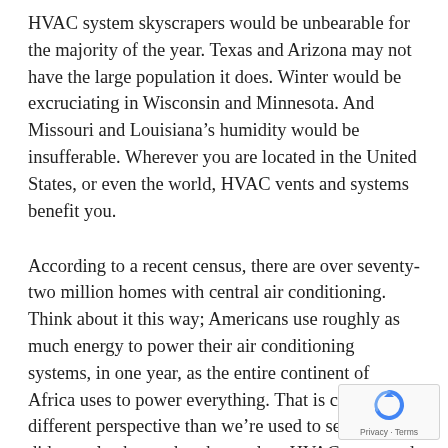HVAC system skyscrapers would be unbearable for the majority of the year. Texas and Arizona may not have the large population it does. Winter would be excruciating in Wisconsin and Minnesota. And Missouri and Louisiana's humidity would be insufferable. Wherever you are located in the United States, or even the world, HVAC vents and systems benefit you.
According to a recent census, there are over seventy-two million homes with central air conditioning. Think about it this way; Americans use roughly as much energy to power their air conditioning systems, in one year, as the entire continent of Africa uses to power everything. That is certainly a different perspective than we're used to seeing. But did you also know that the modern HVAC vents and systems helped alleviate many diseases and sickness associated with extreme warmth or cold? The modern systems have also allowed for medical breakthroughs, because without proper environment co... the labs things can go very wrong. Modern HVAC vents a...